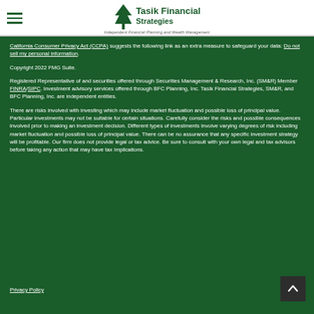[Figure (logo): Tasik Financial Strategies logo with green tree icon and text 'Independent Financial Planning and Wealth Management']
California Consumer Privacy Act (CCPA) suggests the following link as an extra measure to safeguard your data: Do not sell my personal information.
Copyright 2022 FMG Suite.
Registered Representative of and securities offered through Securities Management & Research, Inc. (SM&R) Member FINRA/SIPC. Investment advisory services offered through BFC Planning, Inc. Tasik Financial Strategies, SM&R, and BFC Planning, Inc. are independent entities.
There are risks involved with investing which may include market fluctuation and possible loss of principal value. Particular investments may not be suitable for certain situations. Carefully consider the risks and possible consequences involved prior to making an investment decision. Different types of investments involve varying degrees of risk including market fluctuation and possible loss of principal value. There can be no assurance that any specific investment strategy will be profitable. Our firm does not provide legal or tax advice. Be sure to consult with your own legal and tax advisors before taking any action that may have tax implications.
Privacy Policy